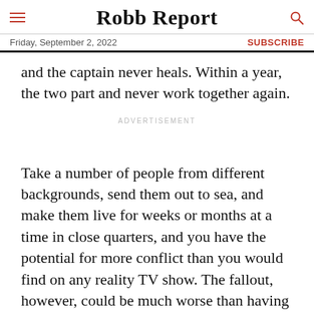Robb Report
Friday, September 2, 2022 | SUBSCRIBE
enough, but the relationship between the owner and the captain never heals. Within a year, the two part and never work together again.
ADVERTISEMENT
Take a number of people from different backgrounds, send them out to sea, and make them live for weeks or months at a time in close quarters, and you have the potential for more conflict than you would find on any reality TV show. The fallout, however, could be much worse than having someone voted off the